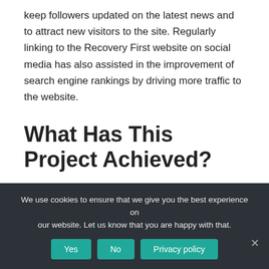keep followers updated on the latest news and to attract new visitors to the site. Regularly linking to the Recovery First website on social media has also assisted in the improvement of search engine rankings by driving more traffic to the website.
What Has This Project Achieved?
Since the initiation of the rebranding website and written content marketing project, we have managed to create a more attractive and engaging
We use cookies to ensure that we give you the best experience on our website. Let us know that you are happy with that.
Yes   No   Privacy policy